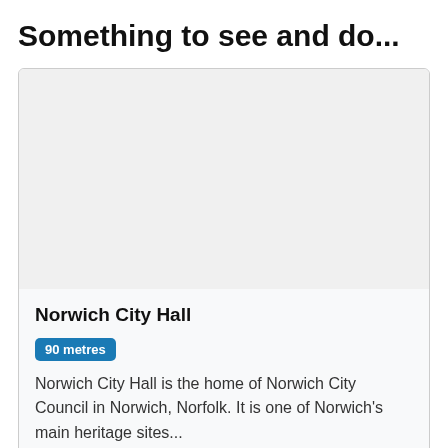Something to see and do...
[Figure (photo): Placeholder image area for Norwich City Hall photo, shown as a light grey rectangle inside a card]
Norwich City Hall
90 metres
Norwich City Hall is the home of Norwich City Council in Norwich, Norfolk. It is one of Norwich's main heritage sites...